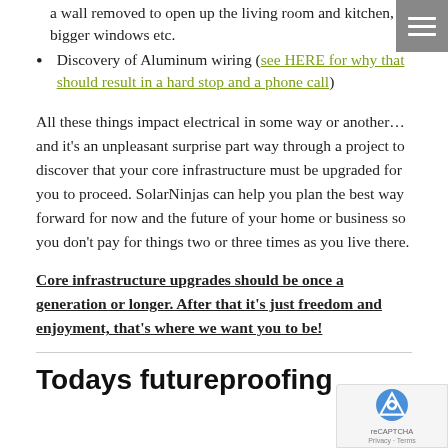a wall removed to open up the living room and kitchen, bigger windows etc.
Discovery of Aluminum wiring (see HERE for why that should result in a hard stop and a phone call)
All these things impact electrical in some way or another… and it's an unpleasant surprise part way through a project to discover that your core infrastructure must be upgraded for you to proceed. SolarNinjas can help you plan the best way forward for now and the future of your home or business so you don't pay for things two or three times as you live there.
Core infrastructure upgrades should be once a generation or longer. After that it's just freedom and enjoyment, that's where we want you to be!
Todays futureproofing